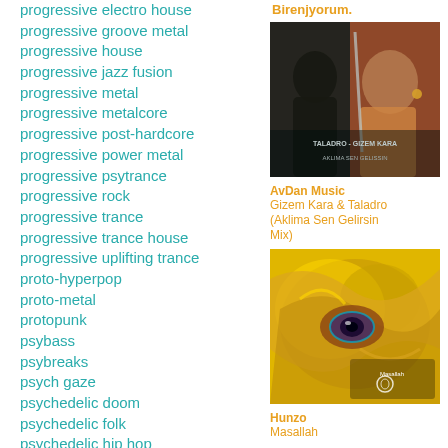progressive electro house
progressive groove metal
progressive house
progressive jazz fusion
progressive metal
progressive metalcore
progressive post-hardcore
progressive power metal
progressive psytrance
progressive rock
progressive trance
progressive trance house
progressive uplifting trance
proto-hyperpop
proto-metal
protopunk
psybass
psybreaks
psych gaze
psychedelic doom
psychedelic folk
psychedelic hip hop
psychedelic jazz fusion
psychedelic pop
psychedelic rock
psychedelic trance
Birenjyorum.
[Figure (photo): Album cover showing two people (man and woman) with text TALADRO - GIZEM KARA and AKLIMA SEN GELISSIN]
AvDan Music
Gizem Kara & Taladro (Aklima Sen Gelirsin Mix)
[Figure (photo): Album artwork showing a golden/yellow abstract eye-like design with Masallah text]
Hunzo
Masallah